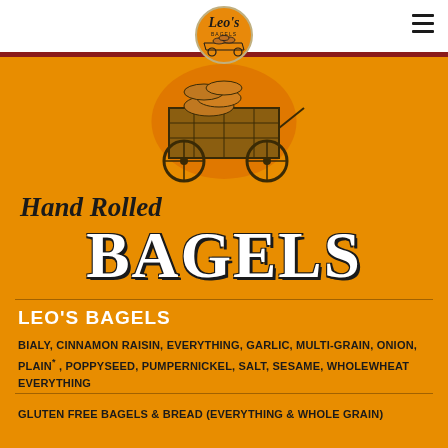Leo's Bagels header with logo and navigation
[Figure (logo): Leo's Bagels circular logo with vintage cart illustration on orange background]
Hand Rolled BAGELS
LEO'S BAGELS
BIALY, CINNAMON RAISIN, EVERYTHING, GARLIC, MULTI-GRAIN, ONION, PLAIN *, POPPYSEED, PUMPERNICKEL, SALT, SESAME, WHOLEWHEAT EVERYTHING
GLUTEN FREE BAGELS & BREAD (EVERYTHING & WHOLE GRAIN)